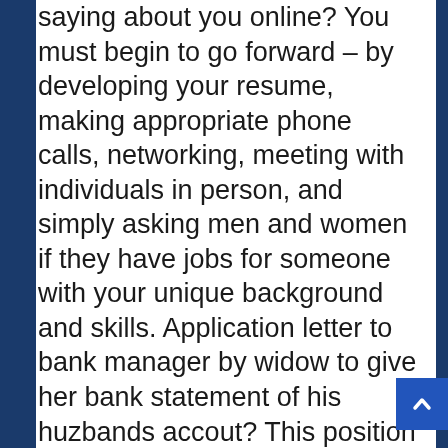saying about you online? You must begin to go forward – by developing your resume, making appropriate phone calls, networking, meeting with individuals in person, and simply asking men and women if they have jobs for someone with your unique background and skills. Application letter to bank manager by widow to give her bank statement of his huzbands accout? This position can be advertised or not. Kotak mahindra bank does not control or endorse such websites, and bears no responsibility for them. bassoatesino In your letter, reference your most relevant or exceptional qualifications to help employers see why you're a great fit for the role. An authorization letter for bank is a letter written to the bank by an owner or a signatory of a bank